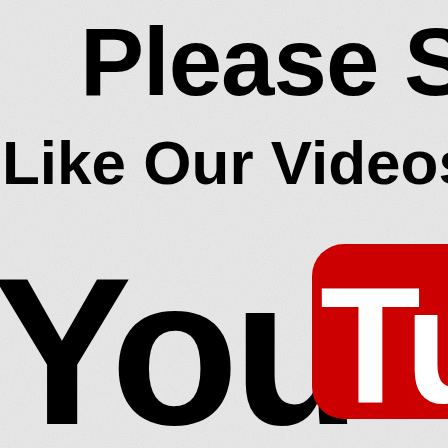Please S
Like Our Videos, a
[Figure (logo): YouTube logo — 'You' in large black bold text followed by a red rounded rectangle icon with white 'Tu' text inside, partially cropped on the right edge]